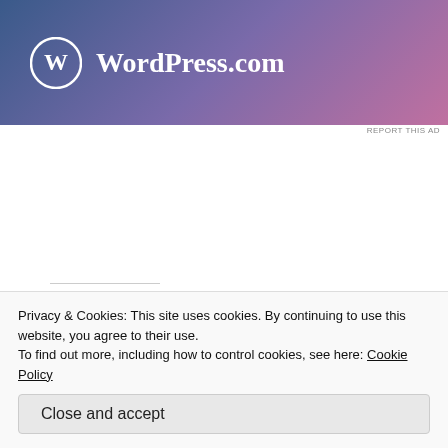[Figure (logo): WordPress.com advertisement banner with gradient background (blue to purple to pink) and WordPress logo (white circle with W) and text 'WordPress.com' in white]
REPORT THIS AD
Share this:
Facebook  Twitter  Email  Print
Loading...
Advertisements
Privacy & Cookies: This site uses cookies. By continuing to use this website, you agree to their use.
To find out more, including how to control cookies, see here: Cookie Policy
Close and accept